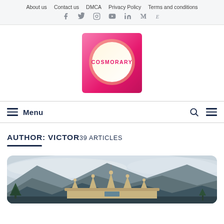About us   Contact us   DMCA   Privacy Policy   Terms and conditions
[Figure (logo): Cosmorary logo: pink/magenta square with white circle containing the text COSMORARY in pink letters]
Menu
AUTHOR: VICTOR 39 ARTICLES
[Figure (photo): Mountain landscape with misty peaks and a traditional ornate building rooftop visible at the bottom]